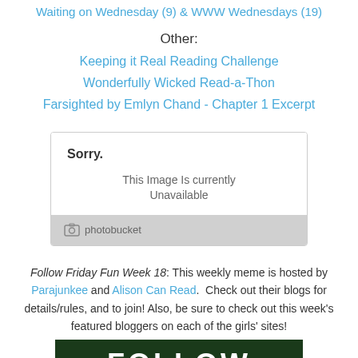Waiting on Wednesday (9) & WWW Wednesdays (19)
Other:
Keeping it Real Reading Challenge
Wonderfully Wicked Read-a-Thon
Farsighted by Emlyn Chand - Chapter 1 Excerpt
[Figure (other): Photobucket unavailable image placeholder showing 'Sorry. This Image Is currently Unavailable' with photobucket logo footer]
Follow Friday Fun Week 18: This weekly meme is hosted by Parajunkee and Alison Can Read.  Check out their blogs for details/rules, and to join!  Also, be sure to check out this week's featured bloggers on each of the girls' sites!
[Figure (photo): Dark green background image with white bold text reading FOLLOW]